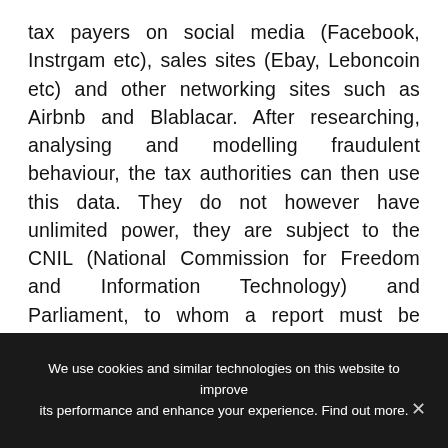tax payers on social media (Facebook, Instrgam etc), sales sites (Ebay, Leboncoin etc) and other networking sites such as Airbnb and Blablacar. After researching, analysing and modelling fraudulent behaviour, the tax authorities can then use this data. They do not however have unlimited power, they are subject to the CNIL (National Commission for Freedom and Information Technology) and Parliament, to whom a report must be submitted in August 2022 and August 2023. The data mining can only be used to track non disclosed business activities and false declarations of off shore domiciles.
We use cookies and similar technologies on this website to improve its performance and enhance your experience. Find out more.